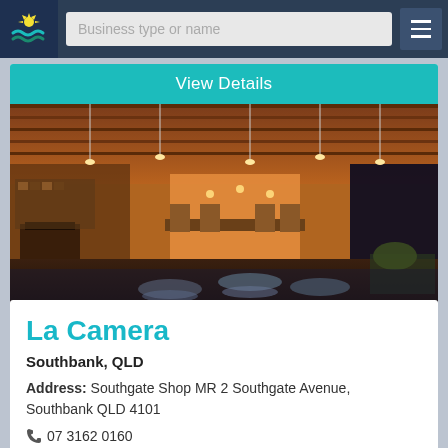Business type or name
View Details
[Figure (photo): Interior of a restaurant with warm wooden ceiling, pendant lights, open kitchen, stepping stones over water feature, and seating areas]
La Camera
Southbank, QLD
Address: Southgate Shop MR 2 Southgate Avenue, Southbank QLD 4101
07 3162 0160